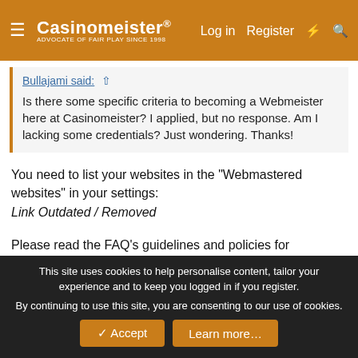Casinomeister® — ADVOCATE OF FAIR PLAY SINCE 1998 — Log in | Register
Bullajami said: Is there some specific criteria to becoming a Webmeister here at Casinomeister? I applied, but no response. Am I lacking some credentials? Just wondering. Thanks!
You need to list your websites in the "Webmastered websites" in your settings:
Link Outdated / Removed
Please read the FAQ's guidelines and policies for Webmeisters. Thanks!
https://www.casinomeister.com/forum-faq/forum-policies/
"Too much of anything is bad, but too much good whiskey is barely enough."
This site uses cookies to help personalise content, tailor your experience and to keep you logged in if you register.
By continuing to use this site, you are consenting to our use of cookies.